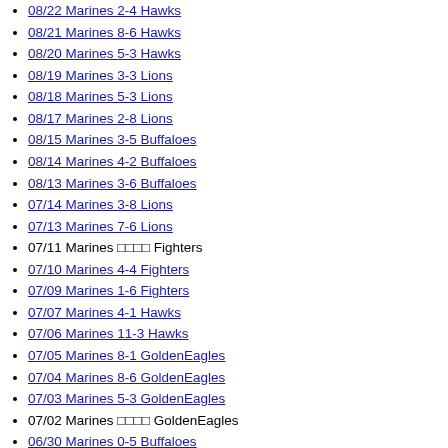08/22 Marines 2-4 Hawks
08/21 Marines 8-6 Hawks
08/20 Marines 5-3 Hawks
08/19 Marines 3-3 Lions
08/18 Marines 5-3 Lions
08/17 Marines 2-8 Lions
08/15 Marines 3-5 Buffaloes
08/14 Marines 4-2 Buffaloes
08/13 Marines 3-6 Buffaloes
07/14 Marines 3-8 Lions
07/13 Marines 7-6 Lions
07/11 Marines □□□□ Fighters
07/10 Marines 4-4 Fighters
07/09 Marines 1-6 Fighters
07/07 Marines 4-1 Hawks
07/06 Marines 11-3 Hawks
07/05 Marines 8-1 GoldenEagles
07/04 Marines 8-6 GoldenEagles
07/03 Marines 5-3 GoldenEagles
07/02 Marines □□□□ GoldenEagles
06/30 Marines 0-5 Buffaloes
06/29 Marines 5-5 Buffaloes
06/27 Marines 8-3 Fighters
06/26 Marines 3-1 Fighters
06/24 Marines 2-7 Hawks